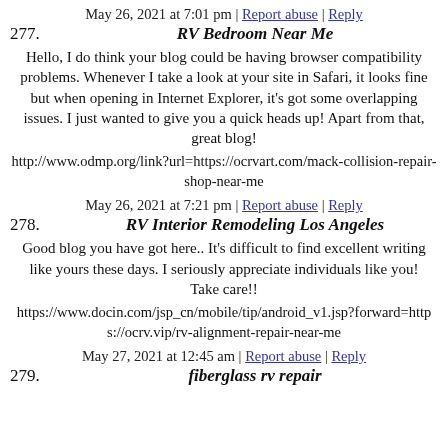May 26, 2021 at 7:01 pm | Report abuse | Reply
RV Bedroom Near Me
Hello, I do think your blog could be having browser compatibility problems. Whenever I take a look at your site in Safari, it looks fine but when opening in Internet Explorer, it's got some overlapping issues. I just wanted to give you a quick heads up! Apart from that, great blog!
http://www.odmp.org/link?url=https://ocrvart.com/mack-collision-repair-shop-near-me
May 26, 2021 at 7:21 pm | Report abuse | Reply
RV Interior Remodeling Los Angeles
Good blog you have got here.. It's difficult to find excellent writing like yours these days. I seriously appreciate individuals like you! Take care!!
https://www.docin.com/jsp_cn/mobile/tip/android_v1.jsp?forward=https://ocrv.vip/rv-alignment-repair-near-me
May 27, 2021 at 12:45 am | Report abuse | Reply
fiberglass rv repair